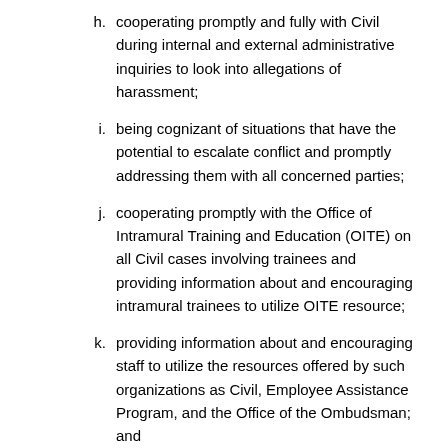h. cooperating promptly and fully with Civil during internal and external administrative inquiries to look into allegations of harassment;
i. being cognizant of situations that have the potential to escalate conflict and promptly addressing them with all concerned parties;
j. cooperating promptly with the Office of Intramural Training and Education (OITE) on all Civil cases involving trainees and providing information about and encouraging intramural trainees to utilize OITE resource;
k. providing information about and encouraging staff to utilize the resources offered by such organizations as Civil, Employee Assistance Program, and the Office of the Ombudsman; and